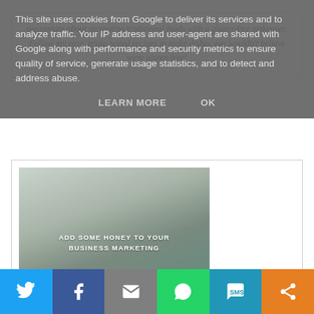traditional foods with a gluten-free makeover. Follow my easy, triple-tested recipes to make dishes you wouldn't believe were gluten-free!
[Figure (photo): Promotional image with text overlay reading 'ADD SOME HONEY TO YOUR BUSINESS MARKETING']
This site uses cookies from Google to deliver its services and to analyze traffic. Your IP address and user-agent are shared with Google along with performance and security metrics to ensure quality of service, generate usage statistics, and to detect and address abuse.
LEARN MORE   OK
[Figure (infographic): Social sharing bar with Twitter, Facebook, Email, WhatsApp, SMS, and Share buttons]